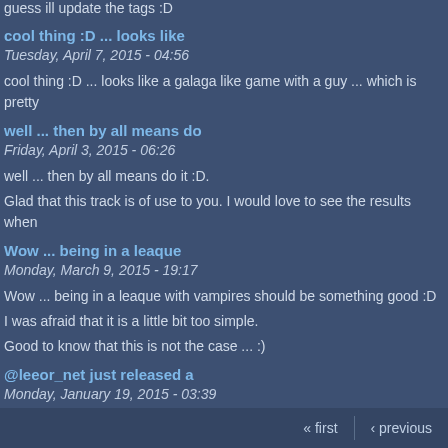guess ill update the tags :D
cool thing :D ... looks like
Tuesday, April 7, 2015 - 04:56
cool thing :D ... looks like a galaga like game with a guy ... which is pretty
well ... then by all means do
Friday, April 3, 2015 - 06:26
well ... then by all means do it :D.
Glad that this track is of use to you. I would love to see the results when
Wow ... being in a leaque
Monday, March 9, 2015 - 19:17
Wow ... being in a leaque with vampires should be something good :D
I was afraid that it is a little bit too simple.
Good to know that this is not the case ... :)
@leeor_net just released a
Monday, January 19, 2015 - 03:39
@leeor_net just released a newly rendered .ogg which should fix the
« first   ‹ previous